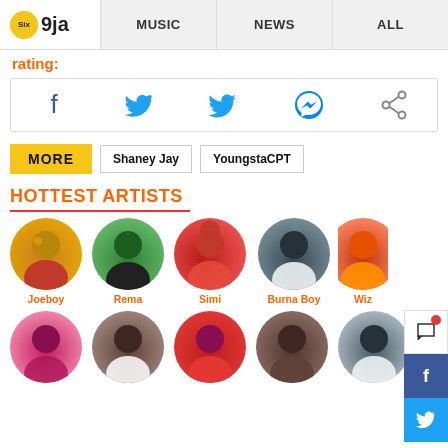Six9ja | MUSIC | NEWS | ALL
rating:
[Figure (infographic): Social share buttons: Facebook, Twitter, Messenger, Share]
MORE  Shaney Jay  YoungstaCPT
HOTTEST ARTISTS
[Figure (photo): Row of circular artist photos: Joeboy, Rema, Simi, Burna Boy, Wiz (partial)]
[Figure (photo): Second row of circular artist photos (partial, names not visible)]